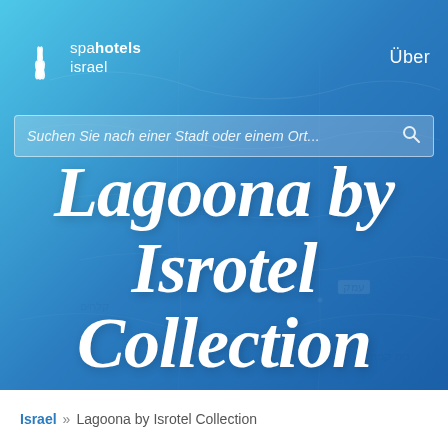[Figure (screenshot): Website screenshot showing spa hotels Israel website with a map background, search bar, and large italic title 'Lagoona by Isrotel Collection' overlaid on a blue gradient with map imagery]
spa hotels israel
Über
Suchen Sie nach einer Stadt oder einem Ort...
Lagoona by Isrotel Collection
Israel » Lagoona by Isrotel Collection